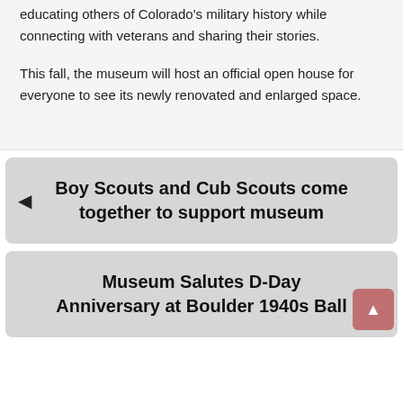educating others of Colorado's military history while connecting with veterans and sharing their stories.

This fall, the museum will host an official open house for everyone to see its newly renovated and enlarged space.
Boy Scouts and Cub Scouts come together to support museum
Museum Salutes D-Day Anniversary at Boulder 1940s Ball